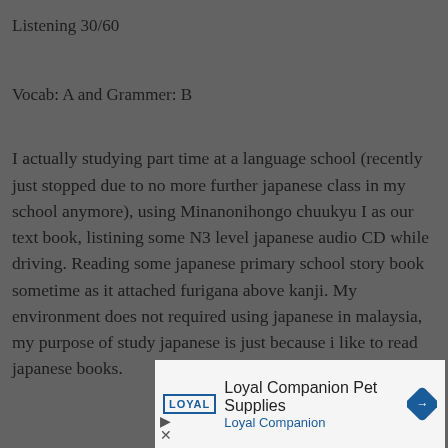Listening 30/60
Vocab: A and Grammer: B
I actually studying part time at a language school (recently just stopped due to no more further japanese class in my school anymore), using Minanonihongo chuukyu I as our text book, listining some N3 level japanese audio CD while driving. Reading some japanese primary school story book sometime as it attached furigana above kanji. My environment does not required using japanese in malaysia, my purpose of study japanese is just because i like to read japanese books.
[Figure (other): Loyal Companion Pet Supplies advertisement banner with logo and diamond-shaped icon]